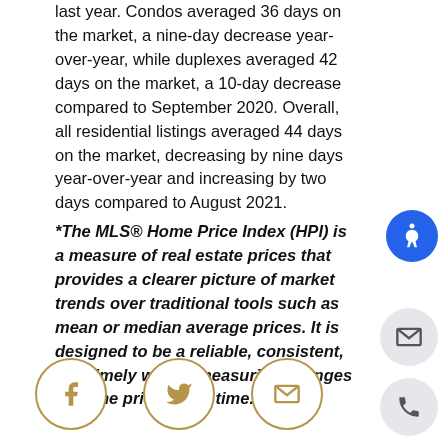last year. Condos averaged 36 days on the market, a nine-day decrease year-over-year, while duplexes averaged 42 days on the market, a 10-day decrease compared to September 2020. Overall, all residential listings averaged 44 days on the market, decreasing by nine days year-over-year and increasing by two days compared to August 2021.
*The MLS® Home Price Index (HPI) is a measure of real estate prices that provides a clearer picture of market trends over traditional tools such as mean or median average prices. It is designed to be a reliable, consistent, and timely way of measuring changes in home prices over time.